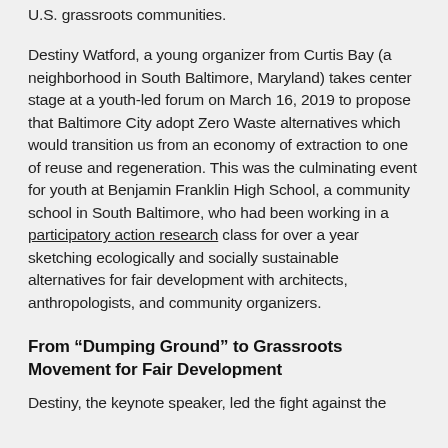U.S. grassroots communities.
Destiny Watford, a young organizer from Curtis Bay (a neighborhood in South Baltimore, Maryland) takes center stage at a youth-led forum on March 16, 2019 to propose that Baltimore City adopt Zero Waste alternatives which would transition us from an economy of extraction to one of reuse and regeneration. This was the culminating event for youth at Benjamin Franklin High School, a community school in South Baltimore, who had been working in a participatory action research class for over a year sketching ecologically and socially sustainable alternatives for fair development with architects, anthropologists, and community organizers.
From “Dumping Ground” to Grassroots Movement for Fair Development
Destiny, the keynote speaker, led the fight against the